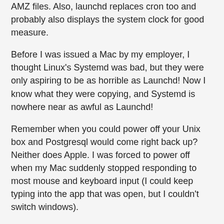AMZ files. Also, launchd replaces cron too and probably also displays the system clock for good measure.
Before I was issued a Mac by my employer, I thought Linux's Systemd was bad, but they were only aspiring to be as horrible as Launchd! Now I know what they were copying, and Systemd is nowhere near as awful as Launchd!
Remember when you could power off your Unix box and Postgresql would come right back up? Neither does Apple. I was forced to power off when my Mac suddenly stopped responding to most mouse and keyboard input (I could keep typing into the app that was open, but I couldn't switch windows).
Because Launchd does away with shell scripts (which have long been the target of hipsters' hate), there's no way to tell Launchd that you have to delete